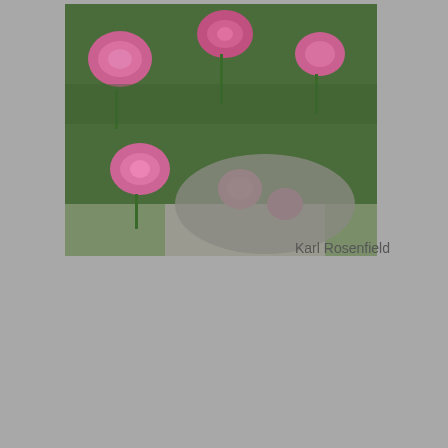[Figure (photo): Garden bed with multiple pink peony flowers in bloom, lush green foliage, viewed from above on a path]
Karl Rosenfield
[Figure (photo): Close-up of a single dark red/maroon peony flower with yellow center stamens, green leaves in background]
Mahogany
[Figure (photo): Close-up of a dark crimson peony with lighter pink outer petals and cream/white center stamens, with fern-like foliage]
Best Charm